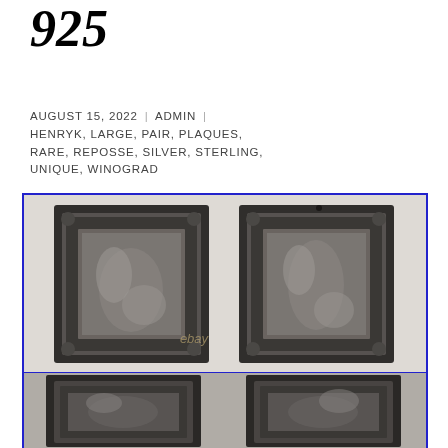925
AUGUST 15, 2022 | ADMIN | HENRYK, LARGE, PAIR, PLAQUES, RARE, REPOSSE, SILVER, STERLING, UNIQUE, WINOGRAD
[Figure (photo): Two ornate sterling silver reposse plaques side by side, front view, with detailed figural scenes in heavy relief, elaborate decorative borders, with eBay watermark. Blue border frame.]
[Figure (photo): Two ornate sterling silver reposse plaques side by side, back/alternate view, showing detailed metalwork and relief. Blue border frame, cropped bottom.]